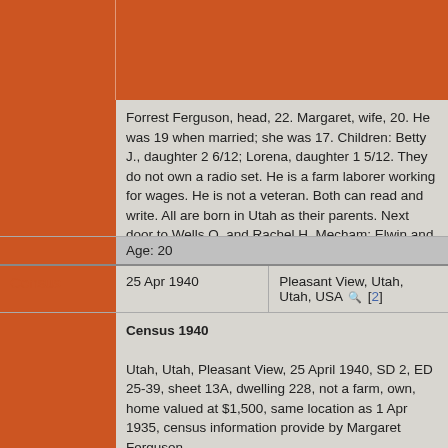Forrest Ferguson, head, 22. Margaret, wife, 20. He was 19 when married; she was 17. Children: Betty J., daughter 2 6/12; Lorena, daughter 1 5/12. They do not own a radio set. He is a farm laborer working for wages. He is not a veteran. Both can read and write. All are born in Utah as their parents. Next door to Wells O. and Rachel H. Mecham; Elwin and Florence Peay.
Age: 20
Census
25 Apr 1940
Pleasant View, Utah, Utah, USA [2]
Census 1940

Utah, Utah, Pleasant View, 25 April 1940, SD 2, ED 25-39, sheet 13A, dwelling 228, not a farm, own, home valued at $1,500, same location as 1 Apr 1935, census information provide by Margaret Ferguson

Forrest H. Ferguson, head 32. Margaret, wife 30. Children: Betty Jean, daughter 12; Lorna, daughter 11; Pha, daughter 7; Della Rae 6